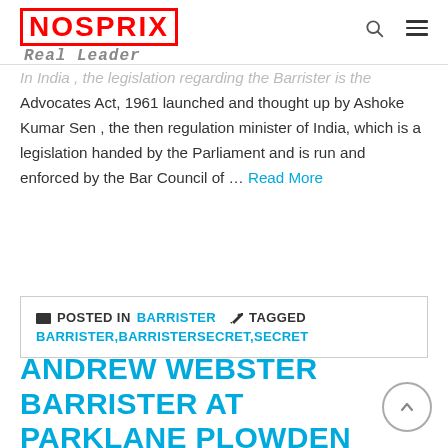NOSPRIX Real Leader
In India , the legislation regarding the Barrister is the Advocates Act, 1961 launched and thought up by Ashoke Kumar Sen , the then regulation minister of India, which is a legislation handed by the Parliament and is run and enforced by the Bar Council of … Read More
POSTED IN BARRISTER TAGGED BARRISTER,BARRISTERSECRET,SECRET
ANDREW WEBSTER BARRISTER AT PARKLANE PLOWDEN CHAMBERS